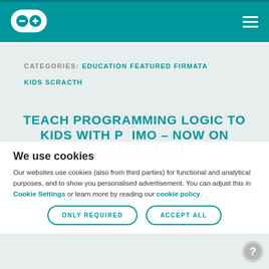[Figure (logo): Arduino logo — infinity-symbol with minus and plus signs inside two circles]
CATEGORIES: EDUCATION FEATURED FIRMATA KIDS SCRACTH
TEACH PROGRAMMING LOGIC TO KIDS WITH PRIMO – NOW ON KICKSTARTER!
Primo uses physical shapes, colours and spacial awareness to teach programming logic through a tactile, warm and magical learning experience. We are proud to announce that Primo is on
We use cookies
Our websites use cookies (also from third parties) for functional and analytical purposes, and to show you personalised advertisement. You can adjust this in Cookie Settings or learn more by reading our cookie policy.
ONLY REQUIRED
ACCEPT ALL